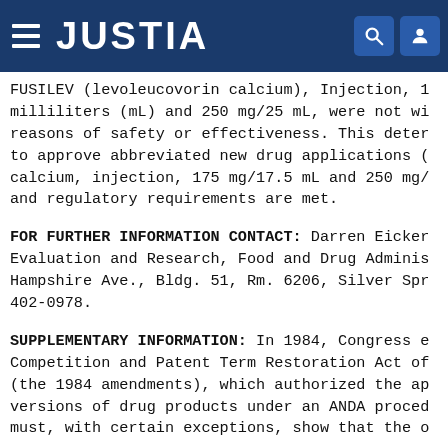JUSTIA
FUSILEV (levoleucovorin calcium), Injection, 1 milliliters (mL) and 250 mg/25 mL, were not wi reasons of safety or effectiveness. This deter to approve abbreviated new drug applications ( calcium, injection, 175 mg/17.5 mL and 250 mg/ and regulatory requirements are met.
FOR FURTHER INFORMATION CONTACT: Darren Eicker Evaluation and Research, Food and Drug Adminis Hampshire Ave., Bldg. 51, Rm. 6206, Silver Spr 402-0978.
SUPPLEMENTARY INFORMATION: In 1984, Congress e Competition and Patent Term Restoration Act of (the 1984 amendments), which authorized the ap versions of drug products under an ANDA proced must, with certain exceptions, show that the o